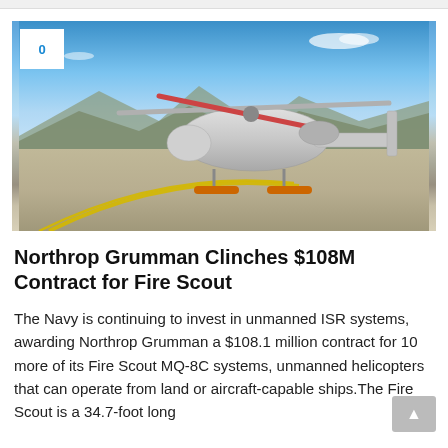[Figure (photo): Northrop Grumman MQ-8C Fire Scout unmanned helicopter parked on a tarmac runway with blue sky and mountains in background]
Northrop Grumman Clinches $108M Contract for Fire Scout
The Navy is continuing to invest in unmanned ISR systems, awarding Northrop Grumman a $108.1 million contract for 10 more of its Fire Scout MQ-8C systems, unmanned helicopters that can operate from land or aircraft-capable ships.The Fire Scout is a 34.7-foot long